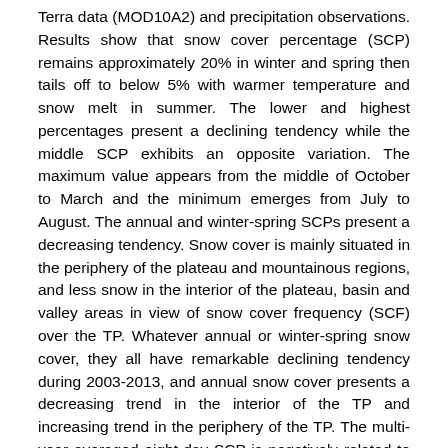Terra data (MOD10A2) and precipitation observations. Results show that snow cover percentage (SCP) remains approximately 20% in winter and spring then tails off to below 5% with warmer temperature and snow melt in summer. The lower and highest percentages present a declining tendency while the middle SCP exhibits an opposite variation. The maximum value appears from the middle of October to March and the minimum emerges from July to August. The annual and winter-spring SCPs present a decreasing tendency. Snow cover is mainly situated in the periphery of the plateau and mountainous regions, and less snow in the interior of the plateau, basin and valley areas in view of snow cover frequency (SCF) over the TP. Whatever annual or winter-spring snow cover, they all have remarkable declining tendency during 2003-2013, and annual snow cover presents a decreasing trend in the interior of the TP and increasing trend in the periphery of the TP. The multi-year averaged eight-day SCP is negatively related to mean precipitation in